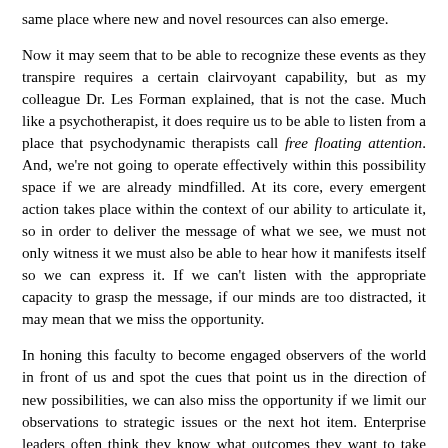same place where new and novel resources can also emerge.
Now it may seem that to be able to recognize these events as they transpire requires a certain clairvoyant capability, but as my colleague Dr. Les Forman explained, that is not the case. Much like a psychotherapist, it does require us to be able to listen from a place that psychodynamic therapists call free floating attention. And, we're not going to operate effectively within this possibility space if we are already mindfilled. At its core, every emergent action takes place within the context of our ability to articulate it, so in order to deliver the message of what we see, we must not only witness it we must also be able to hear how it manifests itself so we can express it. If we can't listen with the appropriate capacity to grasp the message, if our minds are too distracted, it may mean that we miss the opportunity.
In honing this faculty to become engaged observers of the world in front of us and spot the cues that point us in the direction of new possibilities, we can also miss the opportunity if we limit our observations to strategic issues or the next hot item. Enterprise leaders often think they know what outcomes they want to take place and so they keep their focus and approach purely strategic. However, if we are actively opening our perceptions to the emergent opportunities that may make themselves available, we must also be ready to broaden our vision to include new outcomes that may not be obvious at the outset, and that might...